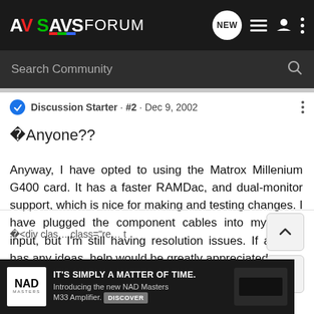AVSForum navigation bar with logo, NEW button, list icon, user icon, more icon
Search Community
Discussion Starter · #2 · Dec 9, 2002
�Anyone??
Anyway, I have opted to using the Matrox Millenium G400 card. It has a faster RAMDac, and dual-monitor support, which is nice for making and testing changes. I have plugged the component cables into my 1080i input, but I'm still having resolution issues. If anyone has any ideas, help would be greatly appreciated.
�<div clas… class="re… t
[Figure (screenshot): NAD advertisement banner: IT'S SIMPLY A MATTER OF TIME. Introducing the new NAD Masters M33 Amplifier. DISCOVER]